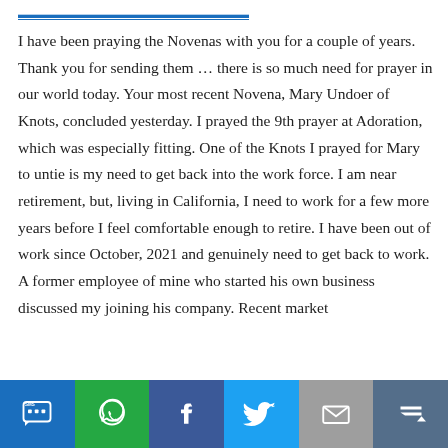I have been praying the Novenas with you for a couple of years. Thank you for sending them … there is so much need for prayer in our world today. Your most recent Novena, Mary Undoer of Knots, concluded yesterday. I prayed the 9th prayer at Adoration, which was especially fitting. One of the Knots I prayed for Mary to untie is my need to get back into the work force. I am near retirement, but, living in California, I need to work for a few more years before I feel comfortable enough to retire. I have been out of work since October, 2021 and genuinely need to get back to work. A former employee of mine who started his own business discussed my joining his company. Recent market